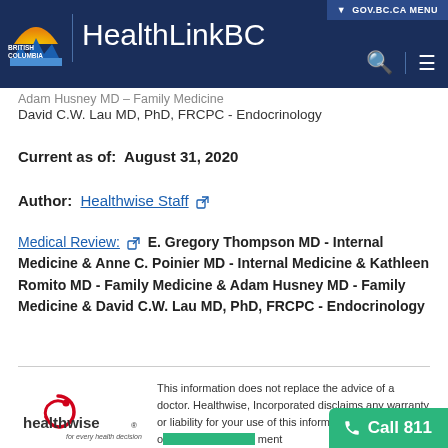HealthLinkBC - GOV.BC.CA MENU
Adam Husney MD - Family Medicine
David C.W. Lau MD, PhD, FRCPC - Endocrinology
Current as of:  August 31, 2020
Author:  Healthwise Staff
Medical Review:  E. Gregory Thompson MD - Internal Medicine & Anne C. Poinier MD - Internal Medicine & Kathleen Romito MD - Family Medicine & Adam Husney MD - Family Medicine & David C.W. Lau MD, PhD, FRCPC - Endocrinology
[Figure (logo): Healthwise logo - for every health decision]
This information does not replace the advice of a doctor. Healthwise, Incorporated disclaims any warranty or liability for your use of this information. Your use of this information means that you agree to the Te...